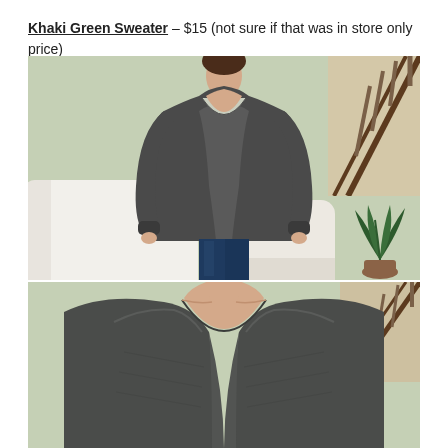Khaki Green Sweater – $15 (not sure if that was in store only price)
[Figure (photo): Two photos of a person wearing a grey/charcoal V-neck oversized sweater. Top photo shows full upper body with person standing in front of a white armchair and light green wall with staircase railing visible. Bottom photo is a close-up of the V-neck detail from the front, showing neckline of the same sweater.]